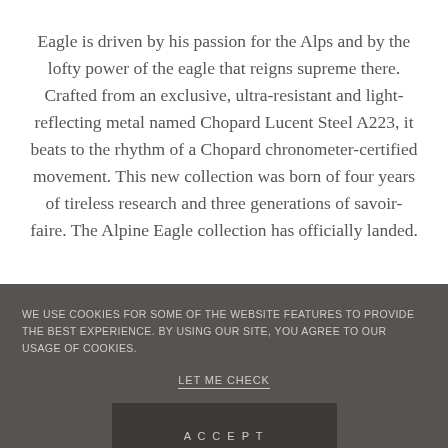Eagle is driven by his passion for the Alps and by the lofty power of the eagle that reigns supreme there. Crafted from an exclusive, ultra-resistant and light-reflecting metal named Chopard Lucent Steel A223, it beats to the rhythm of a Chopard chronometer-certified movement. This new collection was born of four years of tireless research and three generations of savoir-faire. The Alpine Eagle collection has officially landed.
WE USE COOKIES FOR SOME OF THE WEBSITE FEATURES TO PROVIDE THE BEST EXPERIENCE. BY USING OUR SITE, YOU AGREE TO OUR USAGE OF COOKIES.
LET ME CHECK
ACCEPT